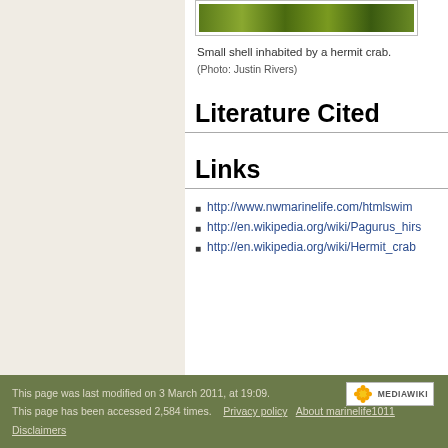[Figure (photo): Small shell inhabited by a hermit crab (partial view, green/brown colors visible at top)]
Small shell inhabited by a hermit crab.
(Photo: Justin Rivers)
Literature Cited
Links
http://www.nwmarinelife.com/htmlswim...
http://en.wikipedia.org/wiki/Pagurus_hirs...
http://en.wikipedia.org/wiki/Hermit_crab
This page was last modified on 3 March 2011, at 19:09.
This page has been accessed 2,584 times.    Privacy policy    About marinelife1011
Disclaimers